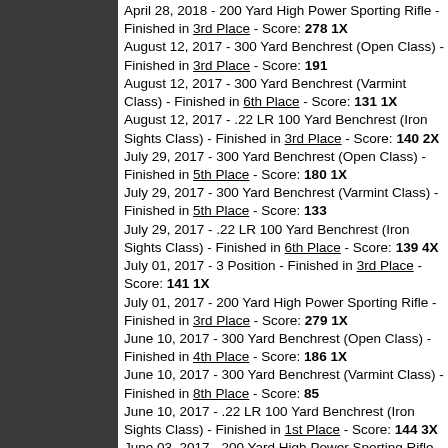April 28, 2018 - 200 Yard High Power Sporting Rifle - Finished in 3rd Place - Score: 278 1X
August 12, 2017 - 300 Yard Benchrest (Open Class) - Finished in 3rd Place - Score: 191
August 12, 2017 - 300 Yard Benchrest (Varmint Class) - Finished in 6th Place - Score: 131 1X
August 12, 2017 - .22 LR 100 Yard Benchrest (Iron Sights Class) - Finished in 3rd Place - Score: 140 2X
July 29, 2017 - 300 Yard Benchrest (Open Class) - Finished in 5th Place - Score: 180 1X
July 29, 2017 - 300 Yard Benchrest (Varmint Class) - Finished in 5th Place - Score: 133
July 29, 2017 - .22 LR 100 Yard Benchrest (Iron Sights Class) - Finished in 6th Place - Score: 139 4X
July 01, 2017 - 3 Position - Finished in 3rd Place - Score: 141 1X
July 01, 2017 - 200 Yard High Power Sporting Rifle - Finished in 3rd Place - Score: 279 1X
June 10, 2017 - 300 Yard Benchrest (Open Class) - Finished in 4th Place - Score: 186 1X
June 10, 2017 - 300 Yard Benchrest (Varmint Class) - Finished in 8th Place - Score: 85
June 10, 2017 - .22 LR 100 Yard Benchrest (Iron Sights Class) - Finished in 1st Place - Score: 144 3X
June 03, 2017 - 200 Yard High Power Sporting Rifle - Finished in 6th Place - Score: 265 2X
June 03, 2017 - 3 Position - Finished in 1st Place - Score: 145 3X